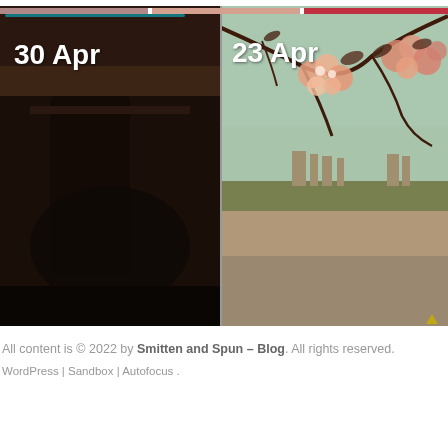[Figure (photo): Blog photo grid header strip showing colorful thumbnail images at the very top]
[Figure (photo): Photo dated 30 Apr showing dark interior scene, possibly a camera or dark room setting with a teal/turquoise line at top]
[Figure (photo): Photo dated 23 Apr showing cherry blossom branches with pink flowers in foreground and Seattle-like city skyline and water in background, vintage/retro toned]
All content is © 2022 by Smitten and Spun – Blog. All rights reserved. WordPress | Sandbox | Autofocus .